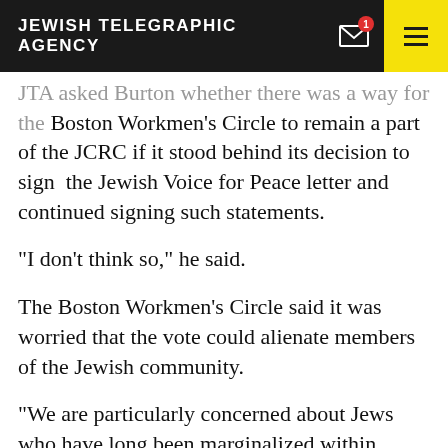JEWISH TELEGRAPHIC AGENCY
JTA asked Burton whether there was a way for the Boston Workmen’s Circle to remain a part of the JCRC if it stood behind its decision to sign the Jewish Voice for Peace letter and continued signing such statements.
“I don’t think so,” he said.
The Boston Workmen’s Circle said it was worried that the vote could alienate members of the Jewish community.
“We are particularly concerned about Jews who have long been marginalized within mainstream community and with Jews who are feeling increasingly isolated